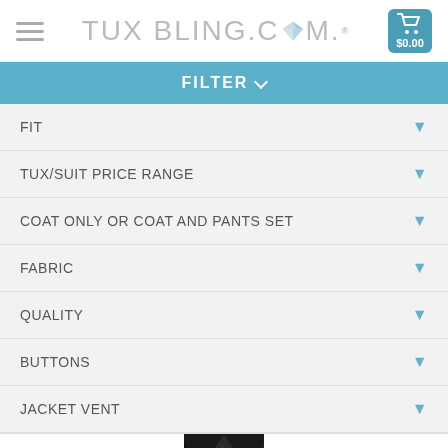TUX BLING.COM
FILTER
FIT
TUX/SUIT PRICE RANGE
COAT ONLY OR COAT AND PANTS SET
FABRIC
QUALITY
BUTTONS
JACKET VENT
[Figure (photo): Partial view of a black tuxedo jacket]